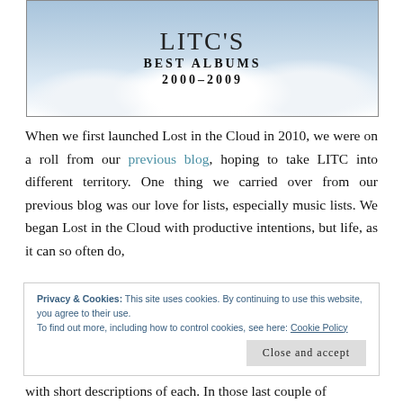[Figure (illustration): Banner image with cloudy sky background and scattered letter shapes. Center text reads LITC'S BEST ALBUMS 2000-2009 in serif font.]
When we first launched Lost in the Cloud in 2010, we were on a roll from our previous blog, hoping to take LITC into different territory. One thing we carried over from our previous blog was our love for lists, especially music lists. We began Lost in the Cloud with productive intentions, but life, as it can so often do,
Privacy & Cookies: This site uses cookies. By continuing to use this website, you agree to their use.
To find out more, including how to control cookies, see here: Cookie Policy
Close and accept
with short descriptions of each. In those last couple of